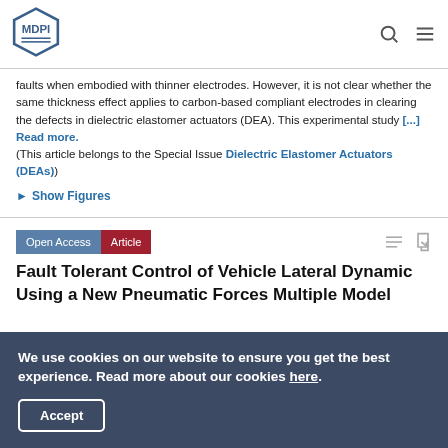MDPI
faults when embodied with thinner electrodes. However, it is not clear whether the same thickness effect applies to carbon-based compliant electrodes in clearing the defects in dielectric elastomer actuators (DEA). This experimental study [...] Read more. (This article belongs to the Special Issue Dielectric Elastomer Actuators (DEAs))
► Show Figures
Open Access  Article
Fault Tolerant Control of Vehicle Lateral Dynamic Using a New Pneumatic Forces Multiple Model
We use cookies on our website to ensure you get the best experience. Read more about our cookies here.
Accept